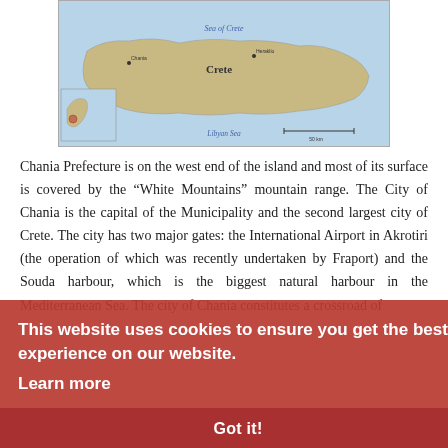[Figure (map): Map of Crete island showing geographic features, cities including Chania and Heraklion, Sea of Crete to the north, Libyan Sea to the south, with a small inset map of Greece highlighting Crete's location.]
Chania Prefecture is on the west end of the island and most of its surface is covered by the “White Mountains” mountain range. The City of Chania is the capital of the Municipality and the second largest city of Crete. The city has two major gates: the International Airport in Akrotiri (the operation of which was recently undertaken by Fraport) and the Souda harbour, which is the biggest natural harbour in the Mediterranean Sea. The city of Chania constitutes a crossroad of civilizations and cultures throughout the centuries.
This website uses cookies to ensure you get the best experience on our website. Learn more
Got it!